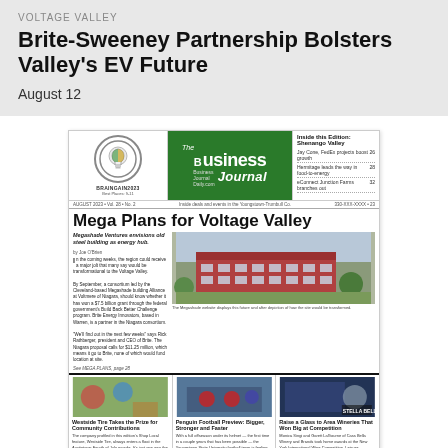VOLTAGE VALLEY
Brite-Sweeney Partnership Bolsters Valley's EV Future
August 12
[Figure (photo): Front page of The Business Journal newspaper featuring 'Mega Plans for Voltage Valley' headline with photo of a building and three smaller story photos at bottom]
NOW AVAILABLE